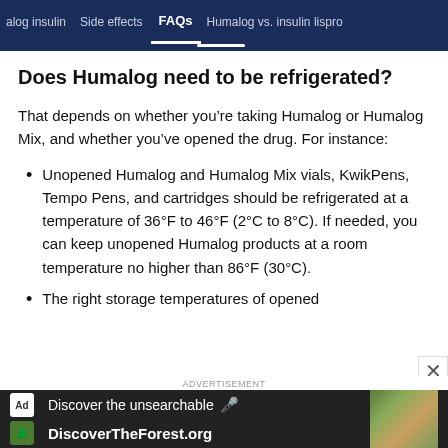alog insulin   Side effects   FAQs   Humalog vs. insulin lispro
Does Humalog need to be refrigerated?
That depends on whether you’re taking Humalog or Humalog Mix, and whether you’ve opened the drug. For instance:
Unopened Humalog and Humalog Mix vials, KwikPens, Tempo Pens, and cartridges should be refrigerated at a temperature of 36°F to 46°F (2°C to 8°C). If needed, you can keep unopened Humalog products at a room temperature no higher than 86°F (30°C).
The right storage temperatures of opened